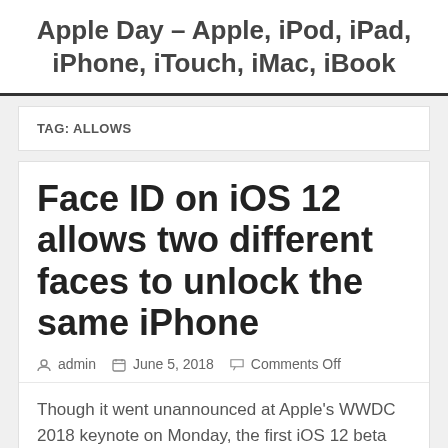Apple Day – Apple, iPod, iPad, iPhone, iTouch, iMac, iBook
TAG: ALLOWS
Face ID on iOS 12 allows two different faces to unlock the same iPhone
admin   June 5, 2018   Comments Off
Though it went unannounced at Apple's WWDC 2018 keynote on Monday, the first iOS 12 beta allows two different people to register their face with Face ID on iPhone X…